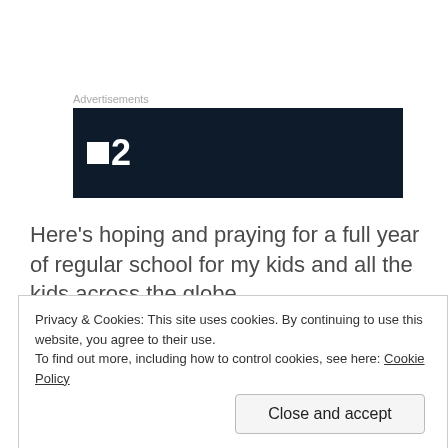Advertisements
[Figure (logo): Dark navy advertisement banner with a white square logo and bold white '2' character]
Here's hoping and praying for a full year of regular school for my kids and all the kids across the globe.
Privacy & Cookies: This site uses cookies. By continuing to use this website, you agree to their use.
To find out more, including how to control cookies, see here: Cookie Policy
Close and accept